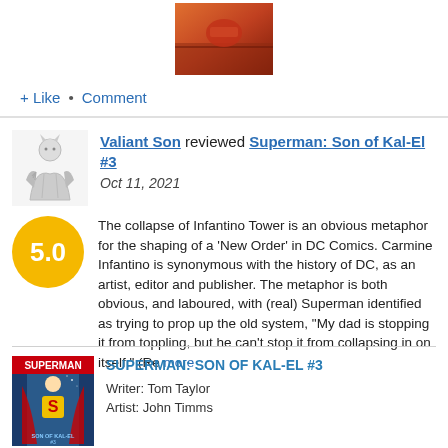[Figure (illustration): Comic book cover thumbnail at top of page, orange/red tones]
+ Like • Comment
Valiant Son reviewed Superman: Son of Kal-El #3
Oct 11, 2021
[Figure (illustration): Avatar illustration of a superhero character in black and white]
5.0
The collapse of Infantino Tower is an obvious metaphor for the shaping of a 'New Order' in DC Comics. Carmine Infantino is synonymous with the history of DC, as an artist, editor and publisher. The metaphor is both obvious, and laboured, with (real) Superman identified as trying to prop up the old system, "My dad is stopping it from toppling, but he can't stop it from collapsing in on itself." (Re more
[Figure (illustration): Superman: Son of Kal-El #3 comic book cover thumbnail]
SUPERMAN: SON OF KAL-EL #3
Writer: Tom Taylor
Artist: John Timms